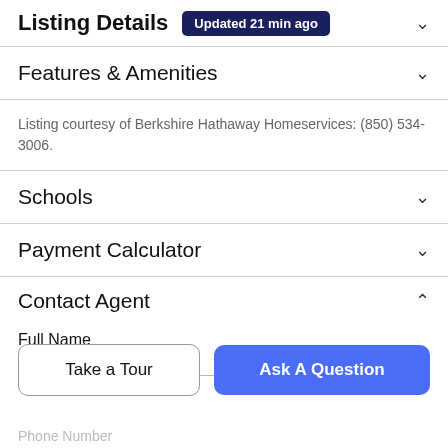Listing Details  Updated 21 min ago
Features & Amenities
Listing courtesy of Berkshire Hathaway Homeservices: (850) 534-3006.
Schools
Payment Calculator
Contact Agent
Full Name
Take a Tour
Ask A Question
Phone Number